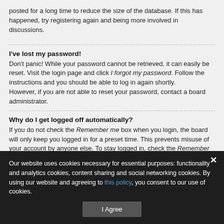posted for a long time to reduce the size of the database. If this has happened, try registering again and being more involved in discussions.
I've lost my password!
Don't panic! While your password cannot be retrieved, it can easily be reset. Visit the login page and click I forgot my password. Follow the instructions and you should be able to log in again shortly.
However, if you are not able to reset your password, contact a board administrator.
Why do I get logged off automatically?
If you do not check the Remember me box when you login, the board will only keep you logged in for a preset time. This prevents misuse of your account by anyone else. To stay logged in, check the Remember me box during login. This is not recommended if you access the board from a shared computer, e.g. library, internet cafe, university computer lab, etc. If you do not see this checkbox, it means a board administrator has disabled this feature.
Our website uses cookies necessary for essential purposes: functionality and analytics cookies, content sharing and social networking cookies. By using our website and agreeing to this policy, you consent to our use of cookies.